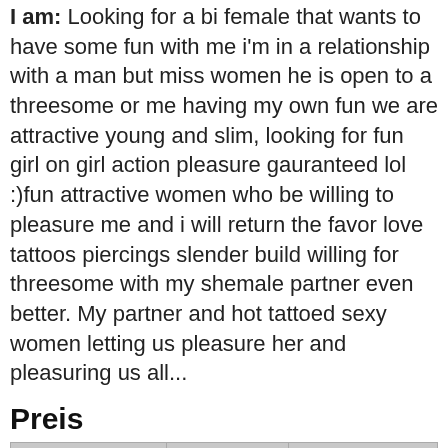I am: Looking for a bi female that wants to have some fun with me i'm in a relationship with a man but miss women he is open to a threesome or me having my own fun we are attractive young and slim, looking for fun girl on girl action pleasure gauranteed lol :)fun attractive women who be willing to pleasure me and i will return the favor love tattoos piercings slender build willing for threesome with my shemale partner even better. My partner and hot tattoed sexy women letting us pleasure her and pleasuring us all...
Preis
| Time | Incall | Outcall |
| --- | --- | --- |
| Quickly | 110 eur | 130 eur |
| 1 hour | 220 eur | 350 eur |